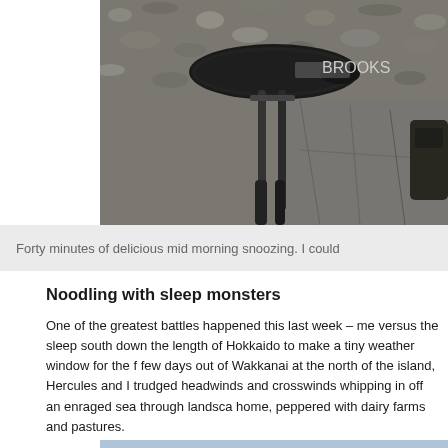[Figure (photo): Close-up photo of a bicycle saddle (Brooks brand) and seat post over a gravel/cracked asphalt surface.]
Forty minutes of delicious mid morning snoozing. I could
Noodling with sleep monsters
One of the greatest battles happened this last week – me versus the sleep south down the length of Hokkaido to make a tiny weather window for the f few days out of Wakkanai at the north of the island, Hercules and I trudged headwinds and crosswinds whipping in off an enraged sea through landsca home, peppered with dairy farms and pastures.
[Figure (photo): Cyclist with a red helmet photographed from behind/side against a cloudy sky background, partially cropped at the bottom of the page.]